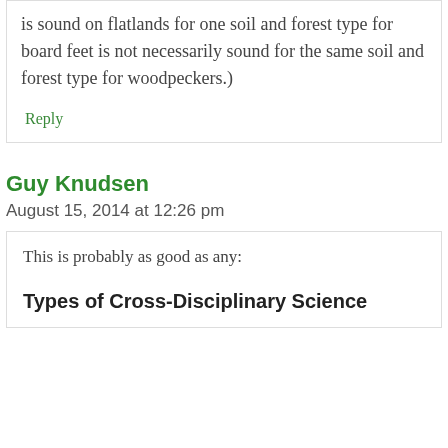is sound on flatlands for one soil and forest type for board feet is not necessarily sound for the same soil and forest type for woodpeckers.)
Reply
Guy Knudsen
August 15, 2014 at 12:26 pm
This is probably as good as any:
Types of Cross-Disciplinary Science